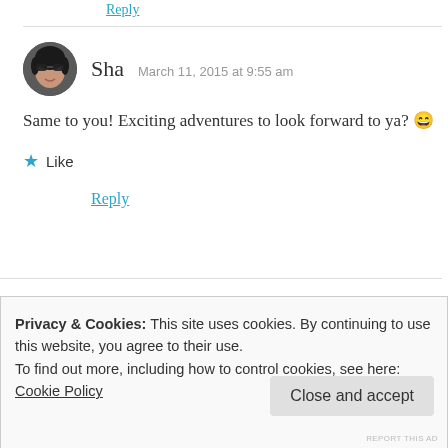Reply
[Figure (photo): Circular avatar photo of a woman wearing sunglasses]
Sha  March 11, 2015 at 9:55 am
Same to you! Exciting adventures to look forward to ya? 😄
★ Like
Reply
Privacy & Cookies: This site uses cookies. By continuing to use this website, you agree to their use.
To find out more, including how to control cookies, see here:
Cookie Policy
Close and accept